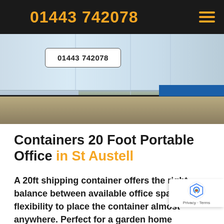01443 742078
[Figure (photo): Photograph of a light blue shipping container/portable office unit at ground level, with a sandy/gravel ground surface and a partial blue panel on the right side. A white rounded-rectangle button with '01443 742078' text overlays the upper-left of the image.]
Containers 20 Foot Portable Office in St Austell
A 20ft shipping container offers the right balance between available office space flexibility to place the container almost anywhere. Perfect for a garden home office,